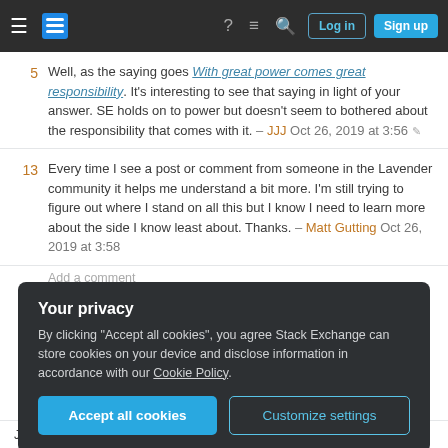Stack Exchange navigation bar with Log in and Sign up buttons
5 — Well, as the saying goes With great power comes great responsibility. It's interesting to see that saying in light of your answer. SE holds on to power but doesn't seem to bothered about the responsibility that comes with it. – JJJ Oct 26, 2019 at 3:56
13 — Every time I see a post or comment from someone in the Lavender community it helps me understand a bit more. I'm still trying to figure out where I stand on all this but I know I need to learn more about the side I know least about. Thanks. – Matt Gutting Oct 26, 2019 at 3:58
Add a comment
Your privacy
By clicking "Accept all cookies", you agree Stack Exchange can store cookies on your device and disclose information in accordance with our Cookie Policy.
Accept all cookies | Customize settings
Journeyman Geek for mediating and (if I'm not